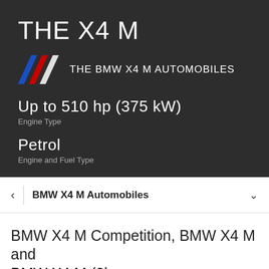THE X4 M
[Figure (logo): BMW M logo with blue, red, and white diagonal stripes forming a stylized M, followed by text THE BMW X4 M AUTOMOBILES]
Up to 510 hp (375 kW)
Engine Type
Petrol
Engine and Fuel Type
BMW X4 M Automobiles
BMW X4 M Competition, BMW X4 M and BMW X4 M (3l...